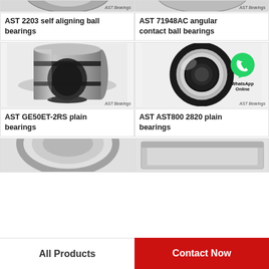[Figure (photo): Top strip showing partial bearing photos with AST Bearings watermark on each]
AST 2203 self aligning ball bearings
AST 71948AC angular contact ball bearings
[Figure (photo): AST GE50ET-2RS plain bearing - cylindrical/puck shaped bearing with rubber seal, gray metallic]
[Figure (photo): AST AST800 2820 plain bearing - ring/disc bearing with rubber seal and WhatsApp Online overlay]
AST GE50ET-2RS plain bearings
AST AST800 2820 plain bearings
[Figure (photo): Partial bearing image at bottom left]
[Figure (photo): Partial bearing image at bottom right]
All Products
Contact Now